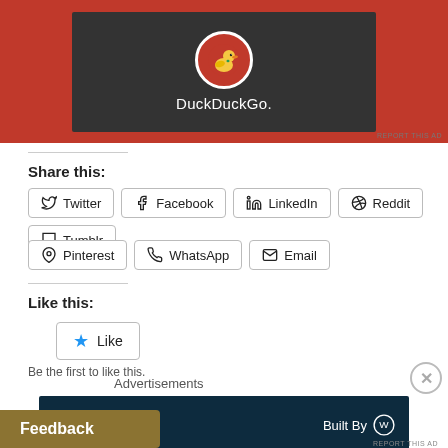[Figure (logo): DuckDuckGo advertisement banner with orange background, dark center panel, duck logo in a red circle with white border, and white DuckDuckGo. text below]
REPORT THIS AD
Share this:
Twitter
Facebook
LinkedIn
Reddit
Tumblr
Pinterest
WhatsApp
Email
Like this:
Like
Be the first to like this.
Advertisements
[Figure (screenshot): Dark navy bottom advertisement banner with white text reading 'site. by us. Built for you.' and 'Built By' with WordPress logo]
Feedback
REPORT THIS AD